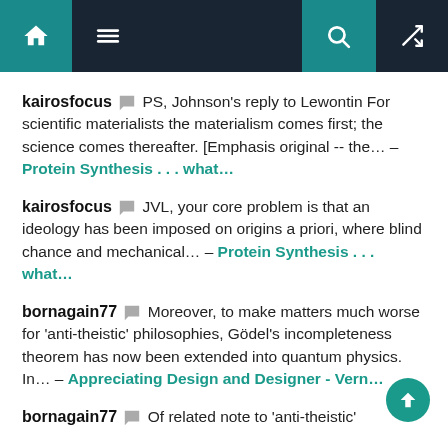Navigation bar with home, menu, search, and random icons
kairosfocus 💬 PS, Johnson's reply to Lewontin For scientific materialists the materialism comes first; the science comes thereafter. [Emphasis original -- the... – Protein Synthesis . . . what...
kairosfocus 💬 JVL, your core problem is that an ideology has been imposed on origins a priori, where blind chance and mechanical... – Protein Synthesis . . . what...
bornagain77 💬 Moreover, to make matters much worse for 'anti-theistic' philosophies, Gödel's incompleteness theorem has now been extended into quantum physics. In... – Appreciating Design and Designer - Vern...
bornagain77 💬 Of related note to 'anti-theistic'